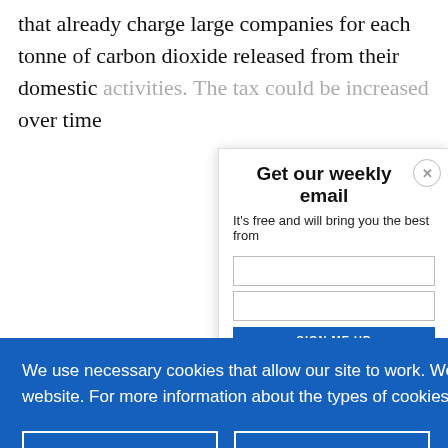that already charge large companies for each tonne of carbon dioxide released from their domestic activities. The tax could be increased over time
Get our weekly email
It's free and will bring you the best from
We use necessary cookies that allow our site to work. We also set optional cookies that help us improve our website. For more information about the types of cookies we use. READ OUR COOKIES POLICY HERE
COOKIE SETTINGS
ALLOW ALL COOKIES
data.
reduction